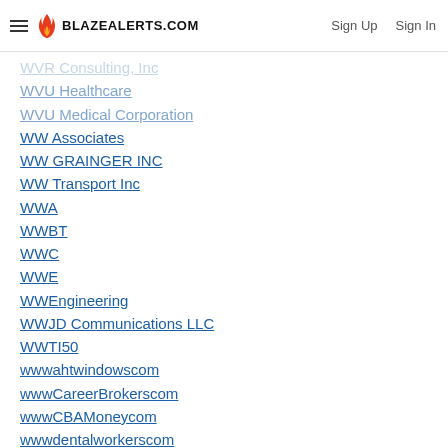BLAZEALERTS.COM | Sign Up | Sign In
WVR Consulting, Inc
WVU Healthcare
WVU Medical Corporation
WW Associates
WW GRAINGER INC
WW Transport Inc
WWA
WWBT
WWC
WWE
WWEngineering
WWJD Communications LLC
WWTI50
wwwahtwindowscom
wwwCareerBrokerscom
wwwCBAMoneycom
wwwdentalworkerscom
wwwerscareerscom
wwwexpressproscom
wwwfacebookcomnandyprotectingfamilies
wwwGo2RLcom
wwwgroupverticalcom
wwwhealthplanonecom